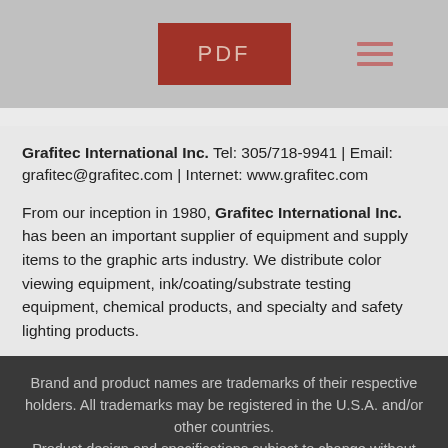[Figure (other): PDF button and hamburger menu icon on grey toolbar]
Grafitec International Inc. Tel: 305/718-9941 | Email: grafitec@grafitec.com | Internet: www.grafitec.com
From our inception in 1980, Grafitec International Inc. has been an important supplier of equipment and supply items to the graphic arts industry. We distribute color viewing equipment, ink/coating/substrate testing equipment, chemical products, and specialty and safety lighting products.
Brand and product names are trademarks of their respective holders. All trademarks may be registered in the U.S.A. and/or other countries.
Product design and specifications subject to change without prior notice.